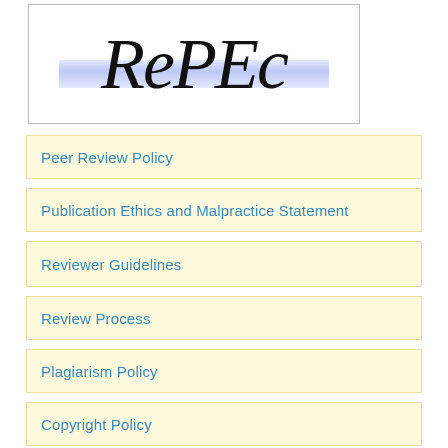[Figure (logo): RePEc logo — large italic serif text 'RePEc' with a blue horizontal stripe behind it, inside a rectangular border]
Peer Review Policy
Publication Ethics and Malpractice Statement
Reviewer Guidelines
Review Process
Plagiarism Policy
Copyright Policy